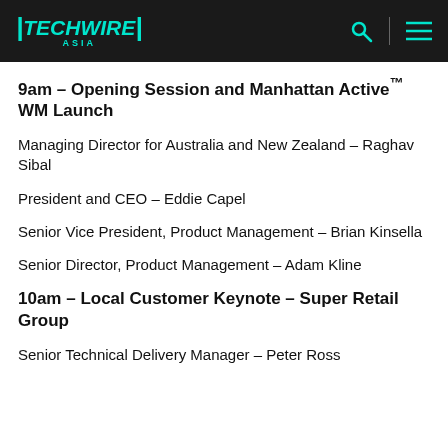TECHWIRE ASIA
9am – Opening Session and Manhattan Active™ WM Launch
Managing Director for Australia and New Zealand – Raghav Sibal
President and CEO – Eddie Capel
Senior Vice President, Product Management – Brian Kinsella
Senior Director, Product Management – Adam Kline
10am – Local Customer Keynote – Super Retail Group
Senior Technical Delivery Manager – Peter Ross